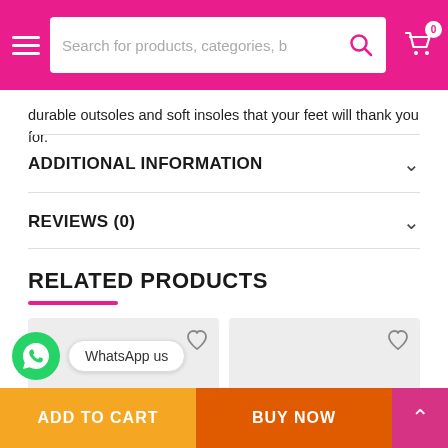Search for products, categories, b...
durable outsoles and soft insoles that your feet will thank you for.
ADDITIONAL INFORMATION
REVIEWS (0)
RELATED PRODUCTS
[Figure (illustration): Two product image cards with heart/wishlist icons, light grey background placeholders]
WhatsApp us
ADD TO CART
BUY NOW